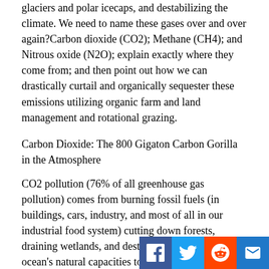glaciers and polar icecaps, and destabilizing the climate. We need to name these gases over and over again?Carbon dioxide (CO2); Methane (CH4); and Nitrous oxide (N2O); explain exactly where they come from; and then point out how we can drastically curtail and organically sequester these emissions utilizing organic farm and land management and rotational grazing.
Carbon Dioxide: The 800 Gigaton Carbon Gorilla in the Atmosphere
CO2 pollution (76% of all greenhouse gas pollution) comes from burning fossil fuels (in buildings, cars, industry, and most of all in our industrial food system) cutting down forests, draining wetlands, and destroying the soil and ocean's natural capacities to sequester billions of tons of excess greenhouse gases. How do we reduce CO2 emissions as rapidly as possible? Stop building coal plants, s a od gas shale production, stop deepwater oil exploration